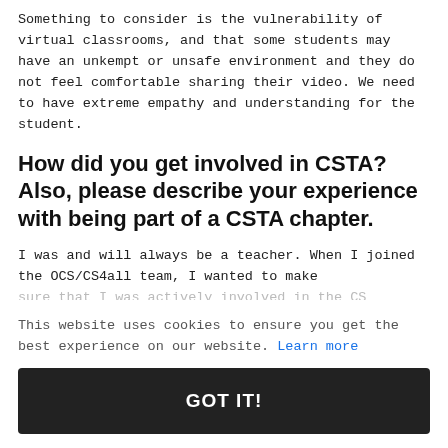Something to consider is the vulnerability of virtual classrooms, and that some students may have an unkempt or unsafe environment and they do not feel comfortable sharing their video. We need to have extreme empathy and understanding for the student.
How did you get involved in CSTA? Also, please describe your experience with being part of a CSTA chapter.
I was and will always be a teacher. When I joined the OCS/CS4all team, I wanted to make sure that I was actively involved in the CS...
This website uses cookies to ensure you get the best experience on our website. Learn more
GOT IT!